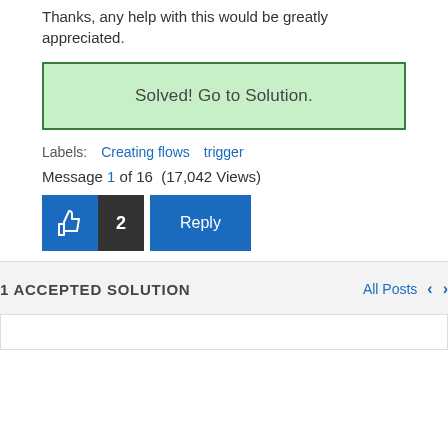Thanks, any help with this would be greatly appreciated.
Solved! Go to Solution.
Labels:  Creating flows  trigger
Message 1 of 16  (17,042 Views)
2  Reply
1 ACCEPTED SOLUTION
All Posts